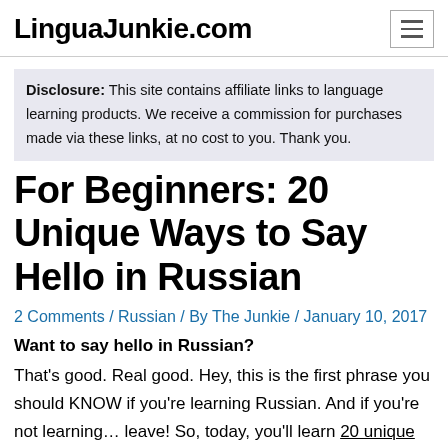LinguaJunkie.com
Disclosure: This site contains affiliate links to language learning products. We receive a commission for purchases made via these links, at no cost to you. Thank you.
For Beginners: 20 Unique Ways to Say Hello in Russian
2 Comments / Russian / By The Junkie / January 10, 2017
Want to say hello in Russian?
That's good. Real good. Hey, this is the first phrase you should KNOW if you're learning Russian. And if you're not learning… leave! So, today, you'll learn 20 unique ways to